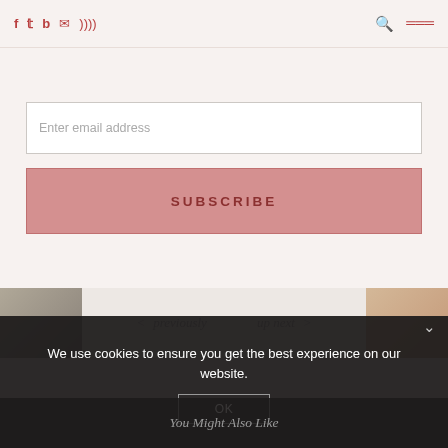f  t  b  ✉  ⊃  [search] [menu]
Enter email address
SUBSCRIBE
< previously   up next >
We use cookies to ensure you get the best experience on our website.
OK
You Might Also Like